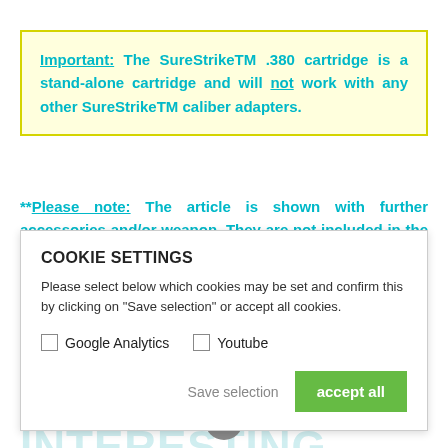Important: The SureStrikeTM .380 cartridge is a stand-alone cartridge and will not work with any other SureStrikeTM caliber adapters.
**Please note: The article is shown with further accessories and/or weapon. They are not included in the scope of delivery.
COOKIE SETTINGS
Please select below which cookies may be set and confirm this by clicking on "Save selection" or accept all cookies.
Google Analytics   Youtube
Save selection   accept all
THE FOLLOWING PRODUCTS ARE ALSO INTERESTING